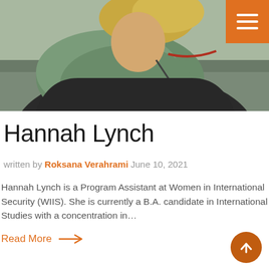[Figure (photo): Photo of Hannah Lynch wearing a green scarf and dark jacket outdoors, with a menu hamburger icon button in the top right corner (orange background)]
Hannah Lynch
written by Roksana Verahrami June 10, 2021
Hannah Lynch is a Program Assistant at Women in International Security (WIIS). She is currently a B.A. candidate in International Studies with a concentration in…
Read More →